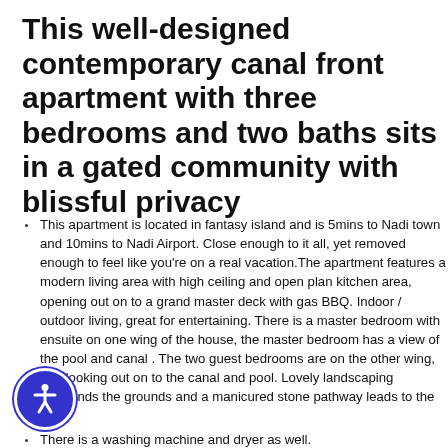This well-designed contemporary canal front apartment with three bedrooms and two baths sits in a gated community with blissful privacy
This apartment is located in fantasy island and is 5mins to Nadi town and 10mins to Nadi Airport. Close enough to it all, yet removed enough to feel like you're on a real vacation.The apartment features a modern living area with high ceiling and open plan kitchen area, opening out on to a grand master deck with gas BBQ. Indoor / outdoor living, great for entertaining. There is a master bedroom with ensuite on one wing of the house, the master bedroom has a view of the pool and canal . The two guest bedrooms are on the other wing, one looking out on to the canal and pool. Lovely landscaping surrounds the grounds and a manicured stone pathway leads to the pool.
There is a washing machine and dryer as well.
Gated community
Swimming pool
3 bedrooms
Master bedroom
Fully furnished
Hot & cold